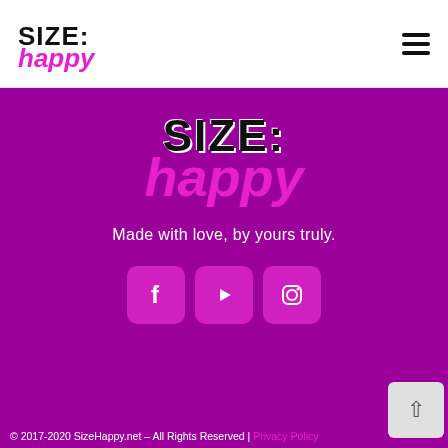[Figure (logo): SIZE: happy logo in header — SIZE: in black bold, happy in pink italic cursive script]
[Figure (logo): SIZE: happy large logo centered on purple background — SIZE: in black bold with white outline, happy in pink italic cursive]
Made with love, by yours truly.
[Figure (infographic): Three social media icon buttons on purple background: Facebook (f), YouTube (play triangle), Instagram (camera icon), all in pink rounded square buttons]
© 2017-2020 SizeHappy.net – All Rights Reserved | Privacy Policy